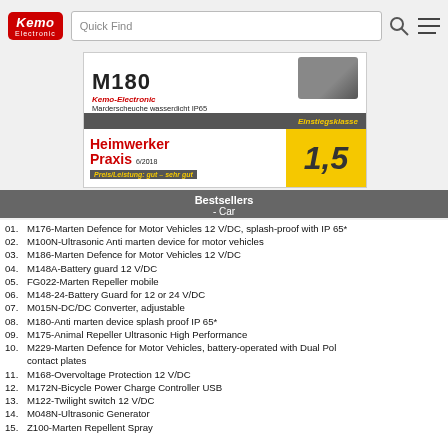Kemo Electronic | Quick Find
[Figure (photo): Advertisement for Kemo M180 Marderscheuche (marten repeller) waterproof IP65, with Heimwerker Praxis 6/2018 rating of 1,5, Einstiegsklasse, Preis/Leistung: gut - sehr gut]
Bestsellers - Car
01. M176-Marten Defence for Motor Vehicles 12 V/DC, splash-proof with IP 65*
02. M100N-Ultrasonic Anti marten device for motor vehicles
03. M186-Marten Defence for Motor Vehicles 12 V/DC
04. M148A-Battery guard 12 V/DC
05. FG022-Marten Repeller mobile
06. M148-24-Battery Guard for 12 or 24 V/DC
07. M015N-DC/DC Converter, adjustable
08. M180-Anti marten device splash proof IP 65*
09. M175-Animal Repeller Ultrasonic High Performance
10. M229-Marten Defence for Motor Vehicles, battery-operated with Dual Pol contact plates
11. M168-Overvoltage Protection 12 V/DC
12. M172N-Bicycle Power Charge Controller USB
13. M122-Twilight switch 12 V/DC
14. M048N-Ultrasonic Generator
15. Z100-Marten Repellent Spray